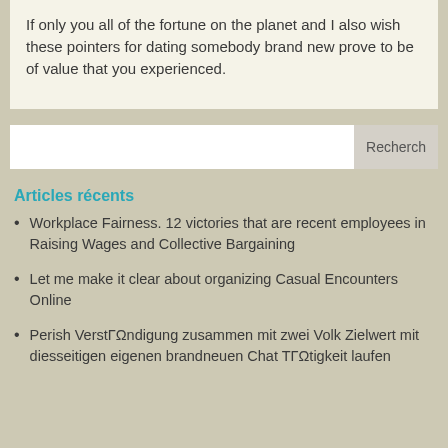If only you all of the fortune on the planet and I also wish these pointers for dating somebody brand new prove to be of value that you experienced.
Articles récents
Workplace Fairness. 12 victories that are recent employees in Raising Wages and Collective Bargaining
Let me make it clear about organizing Casual Encounters Online
Perish VerstΓΩndigung zusammen mit zwei Volk Zielwert mit diesseitigen eigenen brandneuen Chat TΓΩtigkeit laufen